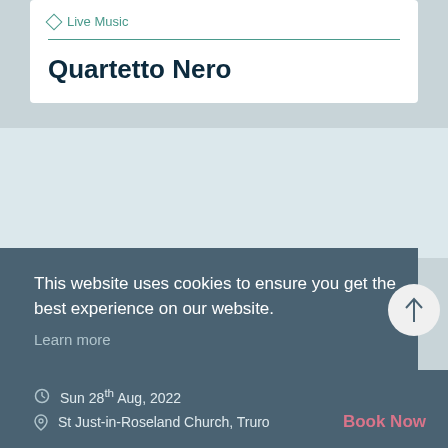◇ Live Music
Quartetto Nero
This website uses cookies to ensure you get the best experience on our website.
Learn more
Got it!
Sun 28th Aug, 2022
St Just-in-Roseland Church, Truro
Book Now